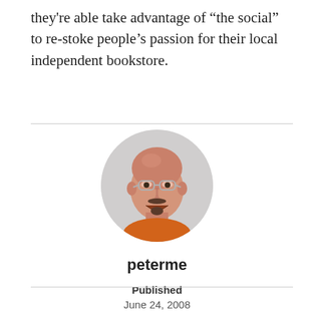they're able take advantage of “the social” to re-stoke people’s passion for their local independent bookstore.
[Figure (photo): Circular profile photo of a bald middle-aged man with glasses, a mustache and goatee, wearing an orange shirt, smiling at the camera. Background is light grey.]
peterme
Published
June 24, 2008